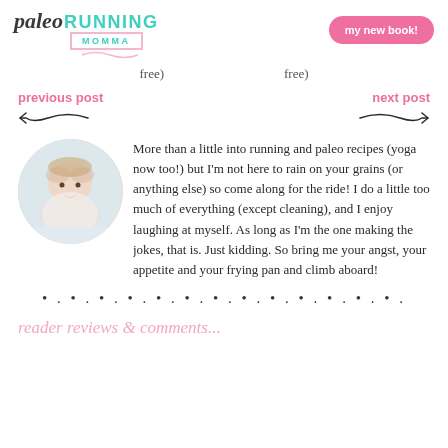paleo RUNNING MOMMA | my new book!
free) ... free)
previous post
next post
[Figure (photo): Circular portrait photo of a woman with shoulder-length blonde hair, smiling, wearing a light-colored top.]
More than a little into running and paleo recipes (yoga now too!) but I'm not here to rain on your grains (or anything else) so come along for the ride! I do a little too much of everything (except cleaning), and I enjoy laughing at myself. As long as I'm the one making the jokes, that is. Just kidding. So bring me your angst, your appetite and your frying pan and climb aboard!
• . • . • . • . • . • . • . • . • . • . • . • . • .
reader reviews & comments...